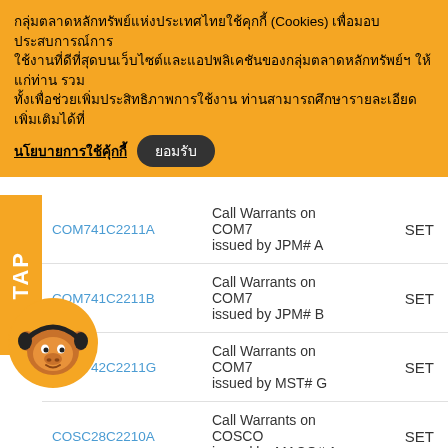กลุ่มตลาดหลักทรัพย์แห่งประเทศไทยใช้คุกกี้ (Cookies) เพื่อมอบประสบการณ์การใช้งานที่ดีที่สุดบนเว็บไซต์และแอปพลิเคชันของกลุ่มตลาดหลักทรัพย์ฯ ให้แก่ท่าน รวมทั้งเพื่อช่วยเพิ่มประสิทธิภาพการใช้งาน ท่านสามารถศึกษารายละเอียดเพิ่มเติมได้ที่ นโยบายการใช้คุ้กกี้  ยอมรับ
| Symbol | Description | Exchange |
| --- | --- | --- |
| COM741C2211A | Call Warrants on COM7 issued by JPM# A | SET |
| COM741C2211B | Call Warrants on COM7 issued by JPM# B | SET |
| COM742C2211G | Call Warrants on COM7 issued by MST# G | SET |
| COSC28C2210A | Call Warrants on COSCO issued by MACQ# A | SET |
| CPAL01C2208A | Call Warrants on CPALL issued by BLS# A | SET |
| .LC2208X | Call Warrants on CPALL issued by BLS# X | SET |